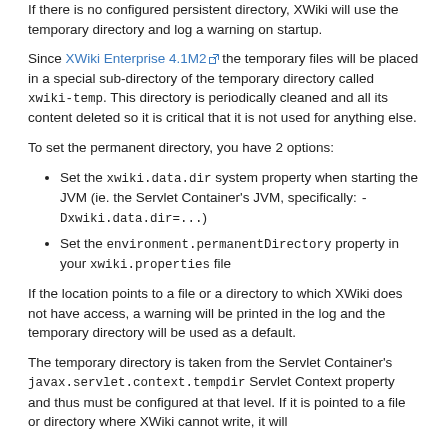If there is no configured persistent directory, XWiki will use the temporary directory and log a warning on startup.
Since XWiki Enterprise 4.1M2 the temporary files will be placed in a special sub-directory of the temporary directory called xwiki-temp. This directory is periodically cleaned and all its content deleted so it is critical that it is not used for anything else.
To set the permanent directory, you have 2 options:
Set the xwiki.data.dir system property when starting the JVM (ie. the Servlet Container's JVM, specifically: -Dxwiki.data.dir=...)
Set the environment.permanentDirectory property in your xwiki.properties file
If the location points to a file or a directory to which XWiki does not have access, a warning will be printed in the log and the temporary directory will be used as a default.
The temporary directory is taken from the Servlet Container's javax.servlet.context.tempdir Servlet Context property and thus must be configured at that level. If it is pointed to a file or directory where XWiki cannot write, it will